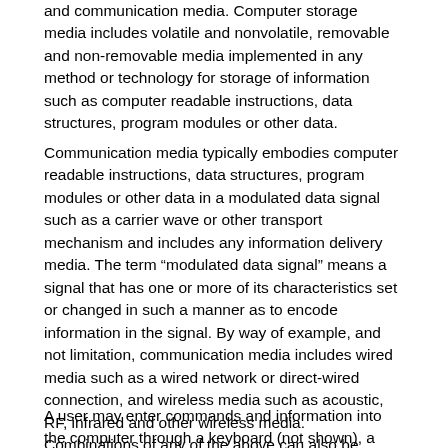and communication media. Computer storage media includes volatile and nonvolatile, removable and non-removable media implemented in any method or technology for storage of information such as computer readable instructions, data structures, program modules or other data.
Communication media typically embodies computer readable instructions, data structures, program modules or other data in a modulated data signal such as a carrier wave or other transport mechanism and includes any information delivery media. The term “modulated data signal” means a signal that has one or more of its characteristics set or changed in such a manner as to encode information in the signal. By way of example, and not limitation, communication media includes wired media such as a wired network or direct-wired connection, and wireless media such as acoustic, RF, infrared and other wireless media. Combinations of any of the above can also be included within the scope of computer readable media.
A user may enter commands and information into the computer through a keyboard (not shown), a pointing device (not shown), such as a mouse, voice input, or